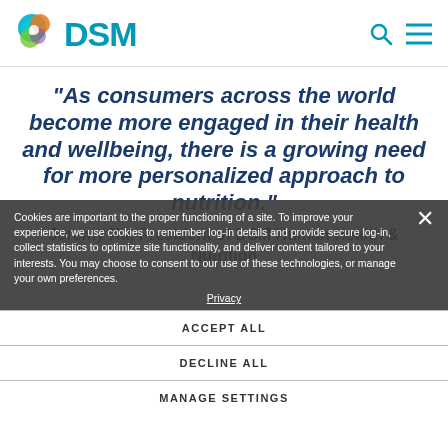DSM logo and navigation header
“As consumers across the world become more engaged in their health and wellbeing, there is a growing need for more personalized approach to nutrition.”
Jeremy Xu, President of DSM Human Health & Nutrition
Cookies are important to the proper functioning of a site. To improve your experience, we use cookies to remember log-in details and provide secure log-in, collect statistics to optimize site functionality, and deliver content tailored to your interests. You may choose to consent to our use of these technologies, or manage your own preferences.
Privacy
ACCEPT ALL
DECLINE ALL
MANAGE SETTINGS